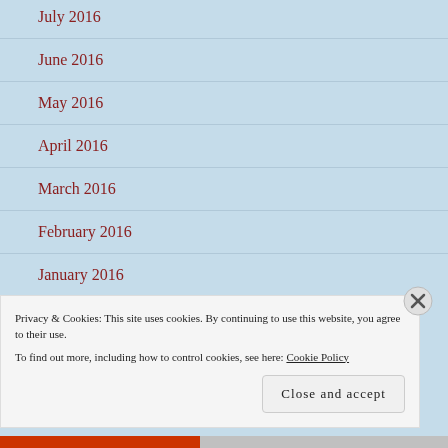July 2016
June 2016
May 2016
April 2016
March 2016
February 2016
January 2016
Privacy & Cookies: This site uses cookies. By continuing to use this website, you agree to their use. To find out more, including how to control cookies, see here: Cookie Policy
Close and accept